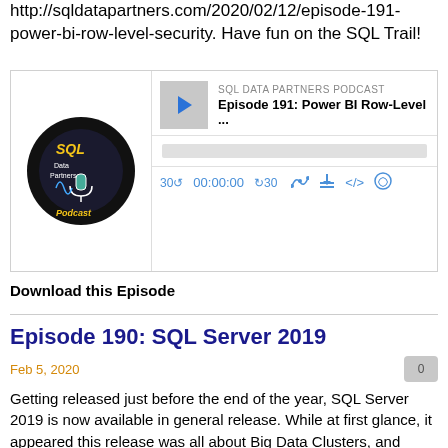http://sqldatapartners.com/2020/02/12/episode-191-power-bi-row-level-security. Have fun on the SQL Trail!
[Figure (screenshot): Podcast player widget showing SQL Data Partners Podcast, Episode 191: Power BI Row-Level ... with play button, progress bar, and playback controls showing 30 back, 00:00:00, forward 30, and icons for RSS, download, embed, and accessibility.]
Download this Episode
Episode 190: SQL Server 2019
Feb 5, 2020
Getting released just before the end of the year, SQL Server 2019 is now available in general release. While at first glance, it appeared this release was all about Big Data Clusters, and rightfully so--it brings 'cloud first' options to on-premises scenarios; however, it is not the only big feature. We spoke about some of the Polybase changes in Episode 180 and in this episode, Javier Villegas guides us as we dive into some of the performance enhancements-- and run out of time. This just means we need a few more